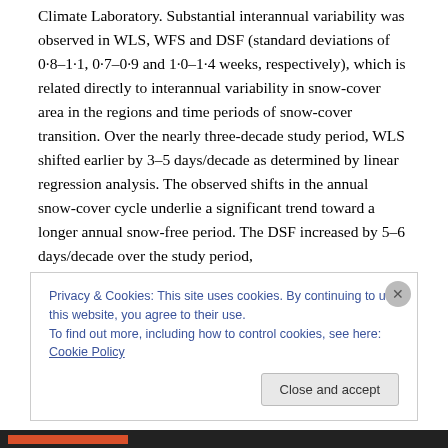Climate Laboratory. Substantial interannual variability was observed in WLS, WFS and DSF (standard deviations of 0·8–1·1, 0·7–0·9 and 1·0–1·4 weeks, respectively), which is related directly to interannual variability in snow-cover area in the regions and time periods of snow-cover transition. Over the nearly three-decade study period, WLS shifted earlier by 3–5 days/decade as determined by linear regression analysis. The observed shifts in the annual snow-cover cycle underlie a significant trend toward a longer annual snow-free period. The DSF increased by 5–6 days/decade over the study period,
Privacy & Cookies: This site uses cookies. By continuing to use this website, you agree to their use.
To find out more, including how to control cookies, see here: Cookie Policy